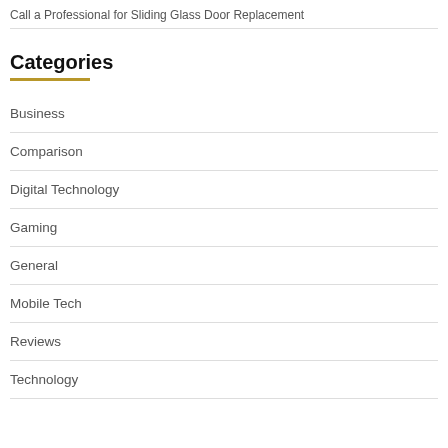Call a Professional for Sliding Glass Door Replacement
Categories
Business
Comparison
Digital Technology
Gaming
General
Mobile Tech
Reviews
Technology